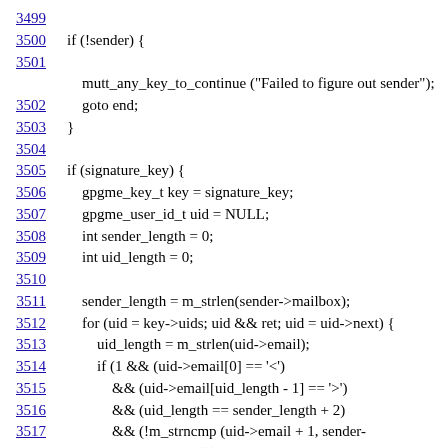Source code listing lines 3499-3521 showing C code for sender verification with signature key handling